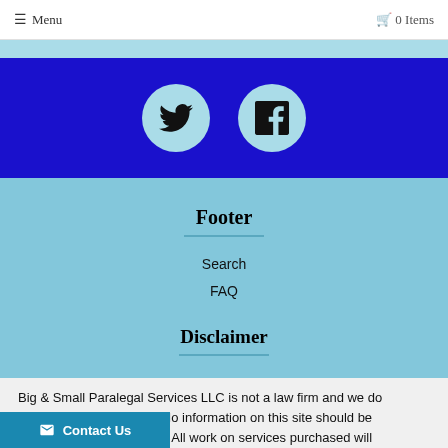☰ Menu   🛒 0 Items
[Figure (illustration): Social media icons: Twitter bird and Facebook 'f' in light blue circles on a dark blue banner background]
Footer
Search
FAQ
Disclaimer
Big & Small Paralegal Services LLC is not a law firm and we do not provide legal advice. No information on this site should be construed as legal advice. All work on services purchased will